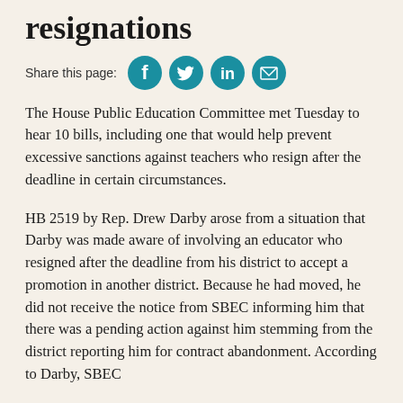resignations
Share this page:
The House Public Education Committee met Tuesday to hear 10 bills, including one that would help prevent excessive sanctions against teachers who resign after the deadline in certain circumstances.
HB 2519 by Rep. Drew Darby arose from a situation that Darby was made aware of involving an educator who resigned after the deadline from his district to accept a promotion in another district. Because he had moved, he did not receive the notice from SBEC informing him that there was a pending action against him stemming from the district reporting him for contract abandonment. According to Darby, SBEC